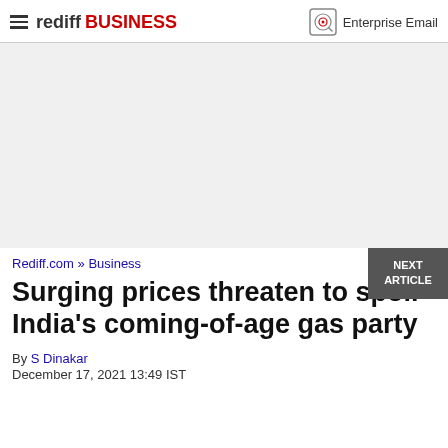rediff BUSINESS | Enterprise Email
[Figure (other): Advertisement placeholder area, light grey background]
NEXT ARTICLE
Rediff.com » Business
Surging prices threaten to spoil India's coming-of-age gas party
By S Dinakar
December 17, 2021 13:49 IST